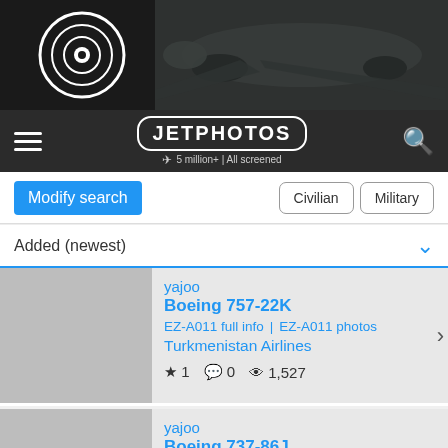[Figure (screenshot): JetPhotos website banner with airplane photo and dark background]
JETPHOTOS — 5 million+ | All screened
Modify search | Civilian | Military
Added (newest)
yajoo | Boeing 757-22K | EZ-A011 full info | EZ-A011 photos | Turkmenistan Airlines | ★1 💬0 👁 1,527
yajoo | Boeing 737-86J | B-1903 full info | B-1903 photos | Air Changan | ★2 💬0 👁 306